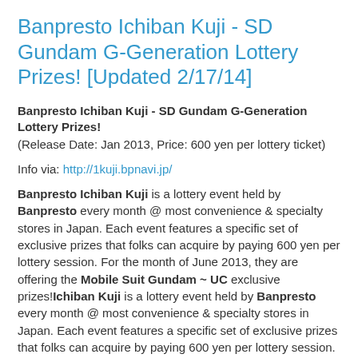Banpresto Ichiban Kuji - SD Gundam G-Generation Lottery Prizes! [Updated 2/17/14]
Banpresto Ichiban Kuji - SD Gundam G-Generation Lottery Prizes!
(Release Date: Jan 2013, Price: 600 yen per lottery ticket)
Info via: http://1kuji.bpnavi.jp/
Banpresto Ichiban Kuji is a lottery event held by Banpresto every month @ most convenience & specialty stores in Japan. Each event features a specific set of exclusive prizes that folks can acquire by paying 600 yen per lottery session. For the month of June 2013, they are offering the Mobile Suit Gundam ~ UC exclusive prizes!Ichiban Kuji is a lottery event held by Banpresto every month @ most convenience & specialty stores in Japan. Each event features a specific set of exclusive prizes that folks can acquire by paying 600 yen per lottery session.